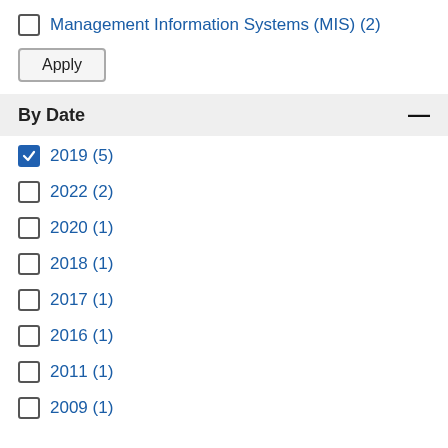Management Information Systems (MIS) (2)
Apply
By Date
2019 (5)
2022 (2)
2020 (1)
2018 (1)
2017 (1)
2016 (1)
2011 (1)
2009 (1)